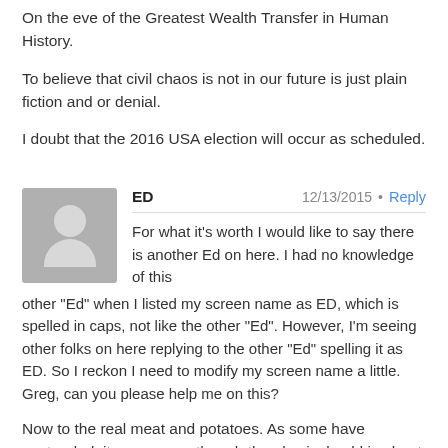On the eve of the Greatest Wealth Transfer in Human History.
To believe that civil chaos is not in our future is just plain fiction and or denial.
I doubt that the 2016 USA election will occur as scheduled.
ED  12/13/2015 • Reply
For what it’s worth I would like to say there is another Ed on here. I had no knowledge of this other “Ed” when I listed my screen name as ED, which is spelled in caps, not like the other “Ed”. However, I’m seeing other folks on here replying to the other “Ed” spelling it as ED. So I reckon I need to modify my screen name a little. Greg, can you please help me on this?
Now to the real meat and potatoes. As some have contended, it appears as though the physical gold is about to dry up, at least here in the USA. Therefore, does anyone out there know what else would be good assets to have (other than silver and